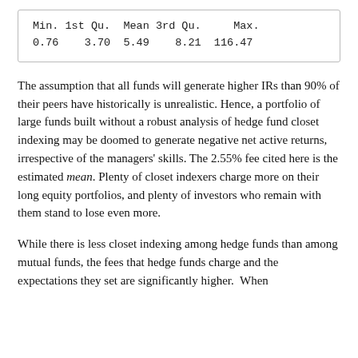| Min. | 1st Qu. | Mean | 3rd Qu. | Max. |
| --- | --- | --- | --- | --- |
| 0.76 | 3.70 | 5.49 | 8.21 | 116.47 |
The assumption that all funds will generate higher IRs than 90% of their peers have historically is unrealistic. Hence, a portfolio of large funds built without a robust analysis of hedge fund closet indexing may be doomed to generate negative net active returns, irrespective of the managers' skills. The 2.55% fee cited here is the estimated mean. Plenty of closet indexers charge more on their long equity portfolios, and plenty of investors who remain with them stand to lose even more.
While there is less closet indexing among hedge funds than among mutual funds, the fees that hedge funds charge and the expectations they set are significantly higher.  When